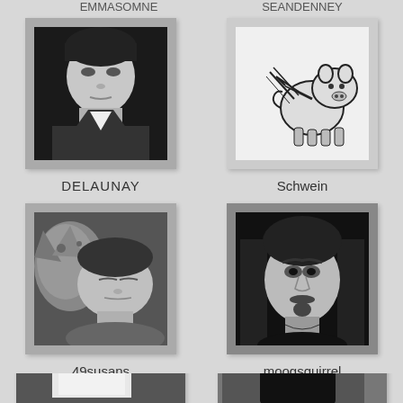EMMASOMNE / SEANDENNEY (partial, top)
[Figure (photo): Black and white photo of a woman looking up, close-up face shot]
DELAUNAY
[Figure (illustration): Cartoon drawing of a pig with wings and a sword, black and white sketch on white background]
Schwein
[Figure (photo): Black and white photo of a person with closed eyes lying next to a cat]
49susans
[Figure (photo): Black and white portrait photo of a man with long dark hair and goatee]
moogsquirrel
[Figure (illustration): Dark background with a white arch/tombstone shape silhouette]
[Figure (photo): Black and white photo of a person with dark hair looking down]